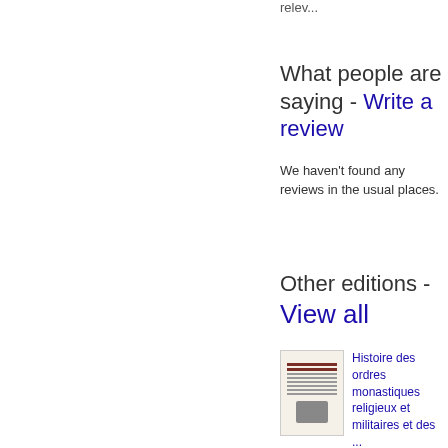relev...
What people are saying - Write a review
We haven't found any reviews in the usual places.
Other editions - View all
[Figure (illustration): Thumbnail of a book cover for Histoire des ordres monastiques religieux et militaires et des ...]
Histoire des ordres monastiques religieux et militaires et des ...
Pierre Hélyot
Full view - 1721